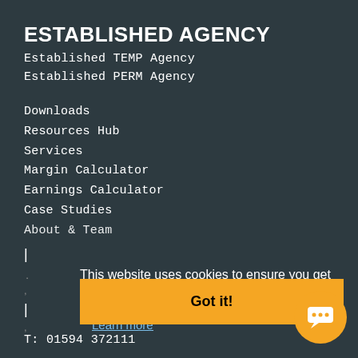ESTABLISHED AGENCY
Established TEMP Agency
Established PERM Agency
Downloads
Resources Hub
Services
Margin Calculator
Earnings Calculator
Case Studies
About & Team
This website uses cookies to ensure you get the best experience on our website.
Learn more
Got it!
T: 01594 372111